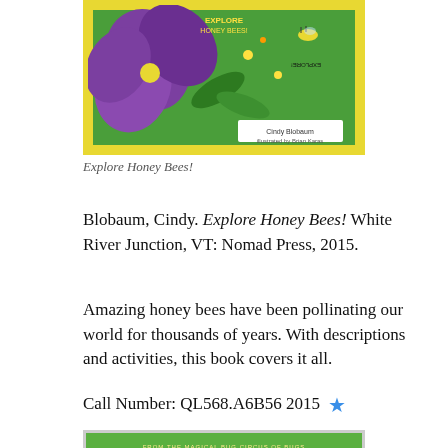[Figure (illustration): Book cover of 'Explore Honey Bees!' showing a colorful green background with large purple flower and bees, yellow border, author name Cindy Blobaum at bottom]
Explore Honey Bees!
Blobaum, Cindy. Explore Honey Bees! White River Junction, VT: Nomad Press, 2015.
Amazing honey bees have been pollinating our world for thousands of years. With descriptions and activities, this book covers it all.
Call Number: QL568.A6B56 2015 ★
[Figure (illustration): Book cover showing a green background with a branch, pink flowers, butterflies, and bees, with text 'David A. Carter' and 'From the magical bug circus of bugs']